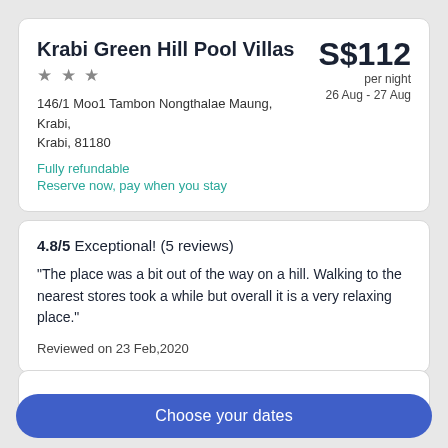Krabi Green Hill Pool Villas
★★★
146/1 Moo1 Tambon Nongthalae Maung, Krabi, Krabi, 81180
Fully refundable
Reserve now, pay when you stay
S$112 per night 26 Aug - 27 Aug
4.8/5 Exceptional! (5 reviews)
"The place was a bit out of the way on a hill. Walking to the nearest stores took a while but overall it is a very relaxing place."
Reviewed on 23 Feb,2020
Choose your dates